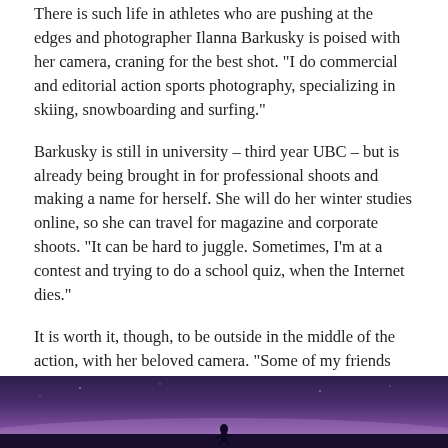There is such life in athletes who are pushing at the edges and photographer Ilanna Barkusky is poised with her camera, craning for the best shot. “I do commercial and editorial action sports photography, specializing in skiing, snowboarding and surfing.”
Barkusky is still in university – third year UBC – but is already being brought in for professional shoots and making a name for herself. She will do her winter studies online, so she can travel for magazine and corporate shoots. “It can be hard to juggle. Sometimes, I’m at a contest and trying to do a school quiz, when the Internet dies.”
It is worth it, though, to be outside in the middle of the action, with her beloved camera. “Some of my friends are up and coming professional athletes, so working with them is really rewarding. If I’m shooting their portraits, I keep it professional, but can also make them laugh and relax.”
In working with exceptional athletes, Barkusky explains, it is important to keep them near their comfort zones, to push their limits but just.
[Figure (photo): A photo strip at the bottom of the page showing a purple/violet twilight sky with a silhouette of a person, likely an athlete, in the scene.]